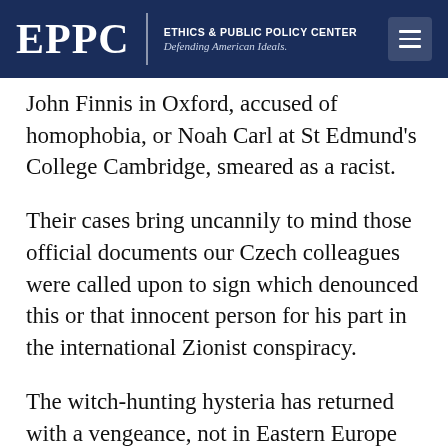EPPC | ETHICS & PUBLIC POLICY CENTER Defending American Ideals.
John Finnis in Oxford, accused of homophobia, or Noah Carl at St Edmund's College Cambridge, smeared as a racist.
Their cases bring uncannily to mind those official documents our Czech colleagues were called upon to sign which denounced this or that innocent person for his part in the international Zionist conspiracy.
The witch-hunting hysteria has returned with a vengeance, not in Eastern Europe but here, where open enquiry and the presumption of innocence have been, until this moment, the